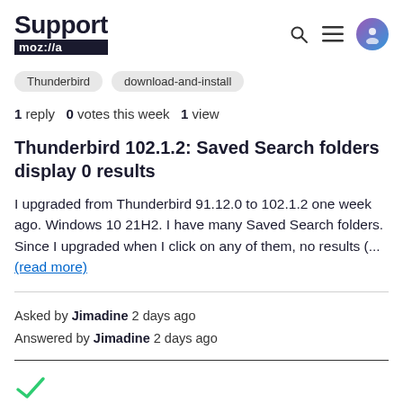Support moz://a
Thunderbird
download-and-install
1 reply  0 votes this week  1 view
Thunderbird 102.1.2: Saved Search folders display 0 results
I upgraded from Thunderbird 91.12.0 to 102.1.2 one week ago. Windows 10 21H2. I have many Saved Search folders. Since I upgraded when I click on any of them, no results (... (read more)
Asked by Jimadine 2 days ago
Answered by Jimadine 2 days ago
[Figure (illustration): Green checkmark icon]